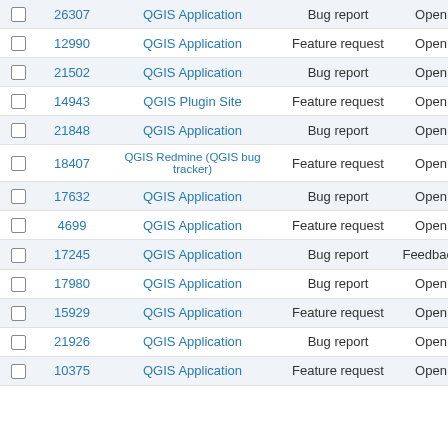|  | # | Project | Tracker | Status | Priority |
| --- | --- | --- | --- | --- | --- |
| ☐ | 26307 | QGIS Application | Bug report | Open | Hi… |
| ☐ | 12990 | QGIS Application | Feature request | Open | Nor… |
| ☐ | 21502 | QGIS Application | Bug report | Open | Nor… |
| ☐ | 14943 | QGIS Plugin Site | Feature request | Open | Nor… |
| ☐ | 21848 | QGIS Application | Bug report | Open | Nor… |
| ☐ | 18407 | QGIS Redmine (QGIS bug tracker) | Feature request | Open | Nor… |
| ☐ | 17632 | QGIS Application | Bug report | Open | Nor… |
| ☐ | 4699 | QGIS Application | Feature request | Open | Nor… |
| ☐ | 17245 | QGIS Application | Bug report | Feedback | Nor… |
| ☐ | 17980 | QGIS Application | Bug report | Open | Lo… |
| ☐ | 15929 | QGIS Application | Feature request | Open | Nor… |
| ☐ | 21926 | QGIS Application | Bug report | Open | Nor… |
| ☐ | 10375 | QGIS Application | Feature request | Open | … |